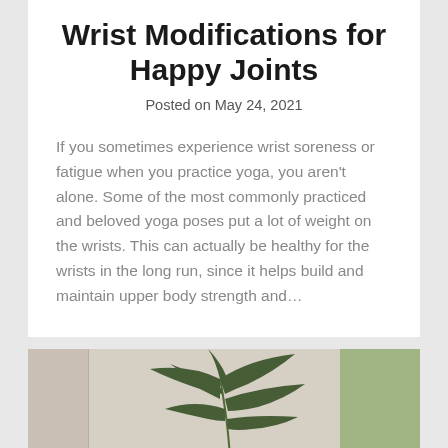Wrist Modifications for Happy Joints
Posted on May 24, 2021
If you sometimes experience wrist soreness or fatigue when you practice yoga, you aren't alone. Some of the most commonly practiced and beloved yoga poses put a lot of weight on the wrists. This can actually be healthy for the wrists in the long run, since it helps build and maintain upper body strength and…
[Figure (photo): Indoor photo showing a light-colored room with a linen curtain or panel on the left, a potted palm/areca plant in the center-right, and greenery visible through a window on the far right.]